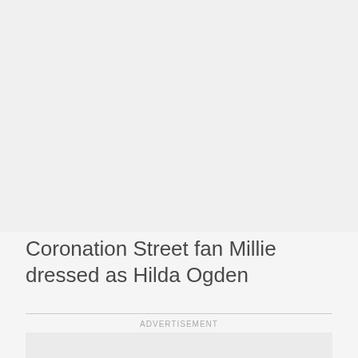[Figure (photo): Large image area at the top of the page, appearing as a light gray placeholder]
Coronation Street fan Millie dressed as Hilda Ogden
ADVERTISEMENT
[Figure (other): Advertisement placeholder box]